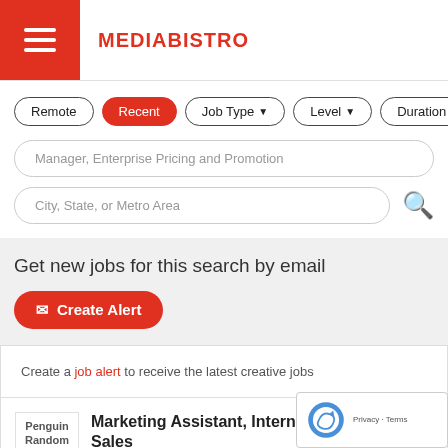MEDIABISTRO
Remote
Recent
Job Type
Level
Duration
Manager, Enterprise Pricing and Promotion
City, State, or Metro Area
Get new jobs for this search by email
Create Alert
Create a job alert to receive the latest creative jobs
Marketing Assistant, International Sales